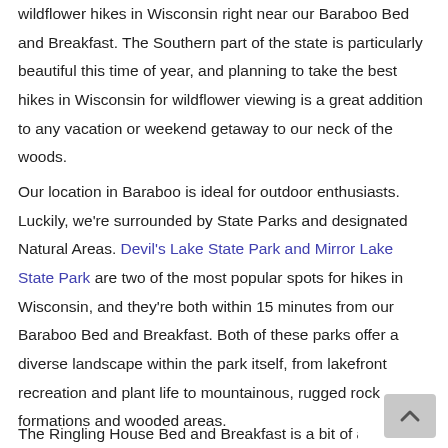wildflower hikes in Wisconsin right near our Baraboo Bed and Breakfast. The Southern part of the state is particularly beautiful this time of year, and planning to take the best hikes in Wisconsin for wildflower viewing is a great addition to any vacation or weekend getaway to our neck of the woods.
Our location in Baraboo is ideal for outdoor enthusiasts. Luckily, we're surrounded by State Parks and designated Natural Areas. Devil's Lake State Park and Mirror Lake State Park are two of the most popular spots for hikes in Wisconsin, and they're both within 15 minutes from our Baraboo Bed and Breakfast. Both of these parks offer a diverse landscape within the park itself, from lakefront recreation and plant life to mountainous, rugged rock formations and wooded areas.
The Ringling House Bed and Breakfast is a bit of a hi...